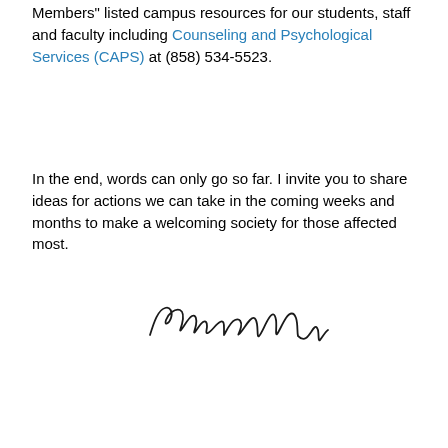Members" listed campus resources for our students, staff and faculty including Counseling and Psychological Services (CAPS) at (858) 534-5523.
In the end, words can only go so far. I invite you to share ideas for actions we can take in the coming weeks and months to make a welcoming society for those affected most.
[Figure (other): Handwritten signature of Rajesh Gupta]